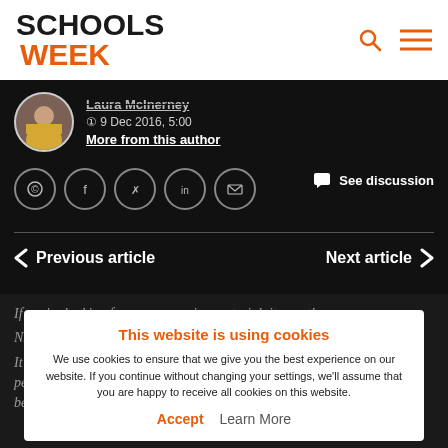Schools Week
Laura McInerney
9 Dec 2016, 5:00
More from this author
[Figure (infographic): Social sharing icons: WhatsApp, Facebook, Twitter, LinkedIn, Email. See discussion button.]
< Previous article   Next article >
If you're looking for accompanying material, its worth...
It shows a series of unconnected events over its five-minute riff. We see people stealing televisions, twin sisters pushing one another, a woman being mugged,
This website is using cookies
We use cookies to ensure that we give you the best experience on our website. If you continue without changing your settings, we'll assume that you are happy to receive all cookies on this website.
Accept   Learn More